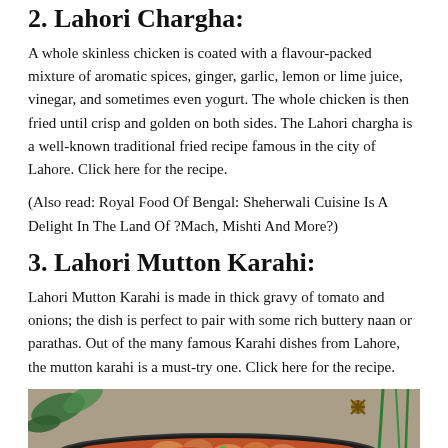2. Lahori Chargha:
A whole skinless chicken is coated with a flavour-packed mixture of aromatic spices, ginger, garlic, lemon or lime juice, vinegar, and sometimes even yogurt. The whole chicken is then fried until crisp and golden on both sides. The Lahori chargha is a well-known traditional fried recipe famous in the city of Lahore. Click here for the recipe.
(Also read: Royal Food Of Bengal: Sheherwali Cuisine Is A Delight In The Land Of ?Mach, Mishti And More?)
3. Lahori Mutton Karahi:
Lahori Mutton Karahi is made in thick gravy of tomato and onions; the dish is perfect to pair with some rich buttery naan or parathas. Out of the many famous Karahi dishes from Lahore, the mutton karahi is a must-try one. Click here for the recipe.
[Figure (photo): A cast iron karahi (wok) dish containing mutton karahi curry with tomato-based sauce, with green herb stems visible in background]